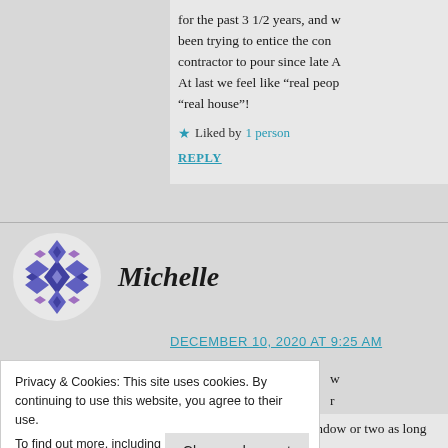for the past 3 1/2 years, and we been trying to entice the concrete contractor to pour since late A... At last we feel like “real people” in a “real house”!
★ Liked by 1 person
REPLY
Michelle
DECEMBER 10, 2020 AT 9:25 AM
Privacy & Cookies: This site uses cookies. By continuing to use this website, you agree to their use.
To find out more, including how to control cookies, see here: Our Cookie Policy
Close and accept
satisfying. I’ll install a window or two as long